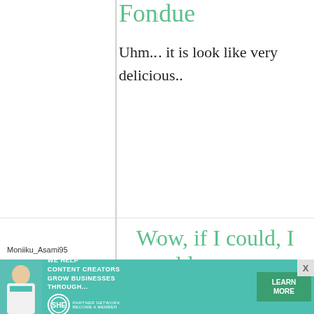Fondue
Uhm... it is look like very delicious..
Moniiku_Asami95
27 September, 2009 - 00:19
permalink
Wow, if I could, I would.
That looks extremely tasty.
[Figure (infographic): SHE Media Partner Network advertisement banner with text: WE HELP CONTENT CREATORS GROW BUSINESSES THROUGH... with LEARN MORE button]